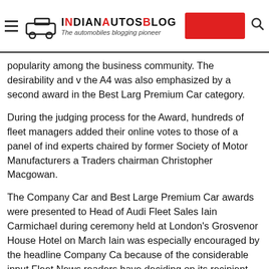IndianAutosBlog – The automobiles blogging pioneer
popularity among the business community. The desirability and v the A4 was also emphasized by a second award in the Best Large Premium Car category.
During the judging process for the Award, hundreds of fleet managers added their online votes to those of a panel of ind experts chaired by former Society of Motor Manufacturers a Traders chairman Christopher Macgowan.
The Company Car and Best Large Premium Car awards were presented to Head of Audi Fleet Sales Iain Carmichael during ceremony held at London's Grosvenor House Hotel on March Iain was especially encouraged by the headline Company Ca because of the considerable input Fleet News readers have deciding on its recipient.
"It's always great to win awards, but there's one thing that ma Company Car of The Year award really special – it's voted fo